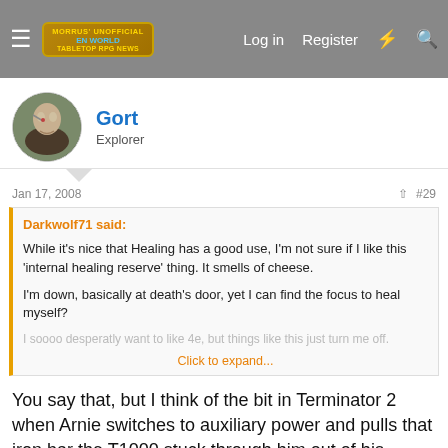Morrus' Unofficial Tabletop RPG News — Log in | Register
Gort
Explorer
Jan 17, 2008   #29
Darkwolf71 said:
While it's nice that Healing has a good use, I'm not sure if I like this 'internal healing reserve' thing. It smells of cheese.

I'm down, basically at death's door, yet I can find the focus to heal myself?

I soooo desperatly want to like 4e, but things like this just turn me off.
Click to expand...
You say that, but I think of the bit in Terminator 2 when Arnie switches to auxiliary power and pulls that iron bar the T1000 stuck through him out of his sternum and gets back up, and